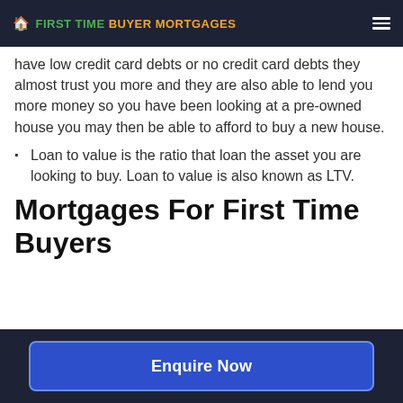FIRST TIME BUYER MORTGAGES
have low credit card debts or no credit card debts they almost trust you more and they are also able to lend you more money so you have been looking at a pre-owned house you may then be able to afford to buy a new house.
Loan to value is the ratio that loan the asset you are looking to buy. Loan to value is also known as LTV.
Mortgages For First Time Buyers
Enquire Now